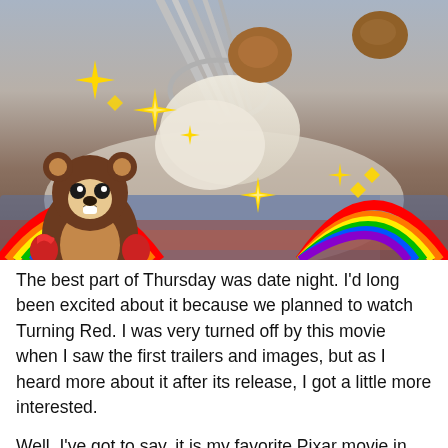[Figure (photo): Close-up photo of food (meatballs/dumplings with creamy sauce on a fork/whisk) decorated with sparkle emojis, a cute bear sticker holding hearts, and rainbow stickers on both lower corners.]
The best part of Thursday was date night. I'd long been excited about it because we planned to watch Turning Red. I was very turned off by this movie when I saw the first trailers and images, but as I heard more about it after its release, I got a little more interested.
Well, I've got to say, it is my favorite Pixar movie in